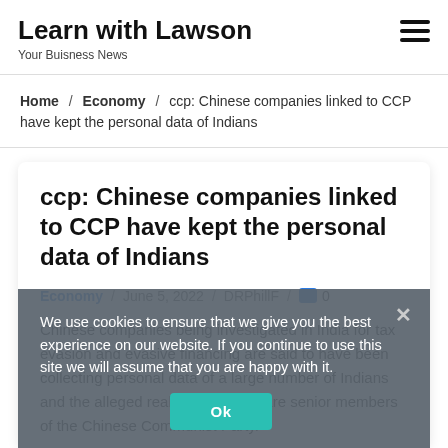Learn with Lawson
Your Buisness News
Home / Economy / ccp: Chinese companies linked to CCP have kept the personal data of Indians
ccp: Chinese companies linked to CCP have kept the personal data of Indians
Economy / June 5, 2022 / DRPhillF / 0
Chinese companies being investigated in India for tax evasion and evasive financing are said to have been collecting personal data of a large number of Indians and the alleged real beneficiaries are senior members of the Chinese Communist Party.
We use cookies to ensure that we give you the best experience on our website. If you continue to use this site we will assume that you are happy with it. Ok